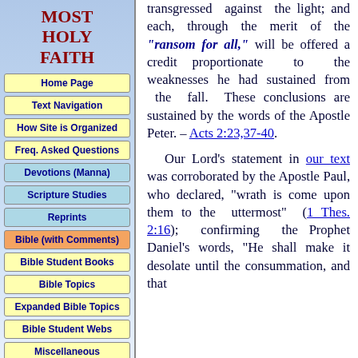MOST HOLY FAITH
Home Page
Text Navigation
How Site is Organized
Freq. Asked Questions
Devotions (Manna)
Scripture Studies
Reprints
Bible (with Comments)
Bible Student Books
Bible Topics
Expanded Bible Topics
Bible Student Webs
Miscellaneous
transgressed against the light; and each, through the merit of the "ransom for all," will be offered a credit proportionate to the weaknesses he had sustained from the fall. These conclusions are sustained by the words of the Apostle Peter. – Acts 2:23,37-40.
Our Lord's statement in our text was corroborated by the Apostle Paul, who declared, "wrath is come upon them to the uttermost" (1 Thes. 2:16); confirming the Prophet Daniel's words, "He shall make it desolate until the consummation, and that determined shall be poured